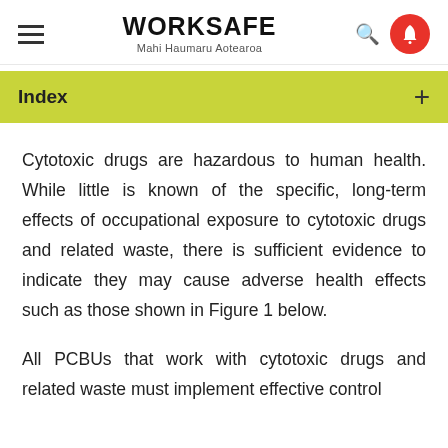WORKSAFE Mahi Haumaru Aotearoa
Index
Cytotoxic drugs are hazardous to human health. While little is known of the specific, long-term effects of occupational exposure to cytotoxic drugs and related waste, there is sufficient evidence to indicate they may cause adverse health effects such as those shown in Figure 1 below.
All PCBUs that work with cytotoxic drugs and related waste must implement effective control